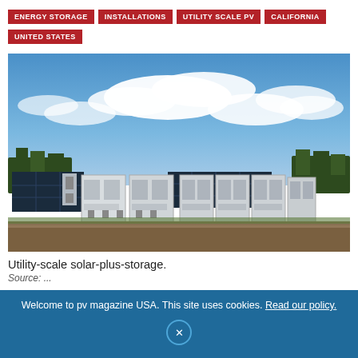ENERGY STORAGE
INSTALLATIONS
UTILITY SCALE PV
CALIFORNIA
UNITED STATES
[Figure (photo): Utility-scale solar-plus-storage installation showing rows of large white battery storage units in front of solar panels, under a blue sky with clouds.]
Utility-scale solar-plus-storage.
Source: ...
Welcome to pv magazine USA. This site uses cookies. Read our policy.